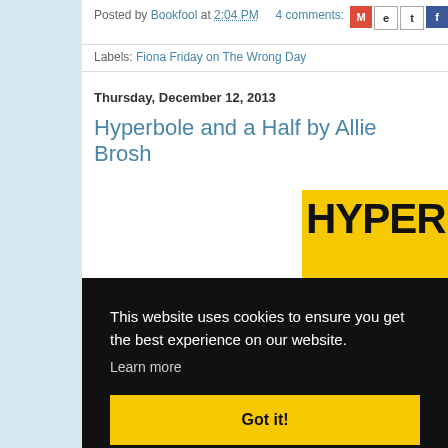Posted by Bookfool at 2:04 PM   4 comments:
Labels: Fiona Friday on The Wrong Day
Thursday, December 12, 2013
Hyperbole and a Half by Allie Brosh
[Figure (screenshot): Book cover showing 'HYPERBOL...' text in large black letters on yellow background]
This website uses cookies to ensure you get the best experience on our website. Learn more
Got it!